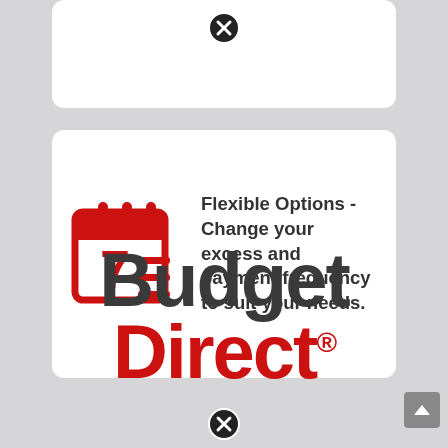[Figure (illustration): Partial white card at top of page with a close/dismiss button (circled X) visible]
[Figure (infographic): White card with a red calendar icon showing the number 7 and horizontal lines, representing flexible options. Text reads: Flexible Options - Change your excess and payment frequency to suit your needs.]
Flexible Options - Change your excess and payment frequency to suit your needs.
[Figure (logo): Budget Direct logo in large bold text. 'Budget' in dark grey and 'Direct' in red with registered trademark symbol.]
[Figure (illustration): Close/dismiss button (circled X) at the bottom of the page]